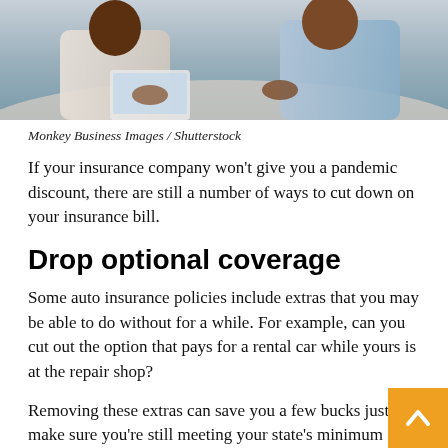[Figure (photo): Photo of a couple using a laptop, partially cropped at top]
Monkey Business Images / Shutterstock
If your insurance company won't give you a pandemic discount, there are still a number of ways to cut down on your insurance bill.
Drop optional coverage
Some auto insurance policies include extras that you may be able to do without for a while. For example, can you cut out the option that pays for a rental car while yours is at the repair shop?
Removing these extras can save you a few bucks just make sure you're still meeting your state's minimum liability coverage and are still protected